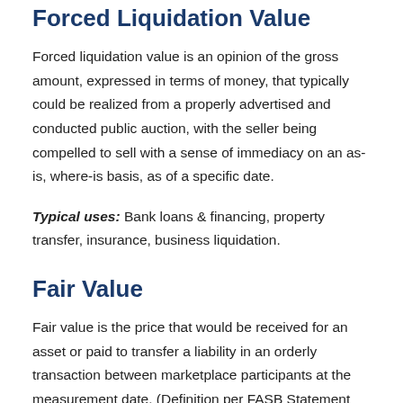Forced Liquidation Value
Forced liquidation value is an opinion of the gross amount, expressed in terms of money, that typically could be realized from a properly advertised and conducted public auction, with the seller being compelled to sell with a sense of immediacy on an as-is, where-is basis, as of a specific date.
Typical uses: Bank loans & financing, property transfer, insurance, business liquidation.
Fair Value
Fair value is the price that would be received for an asset or paid to transfer a liability in an orderly transaction between marketplace participants at the measurement date. (Definition per FASB Statement No. 157 Fair Value